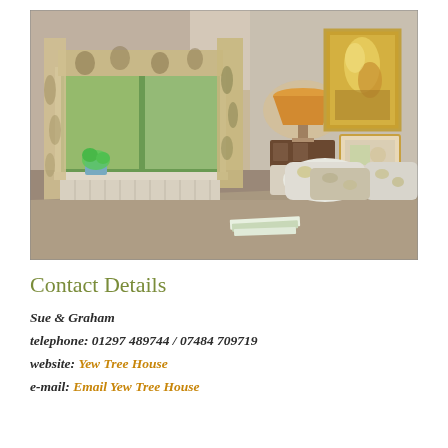[Figure (photo): Interior photograph of a bedroom with a large double bed with floral pillows, a window overlooking green countryside with patterned Roman blind and curtains, a lamp on a bedside table, and a framed artwork on the wall.]
Contact Details
Sue & Graham
telephone: 01297 489744 / 07484 709719
website: Yew Tree House
e-mail: Email Yew Tree House